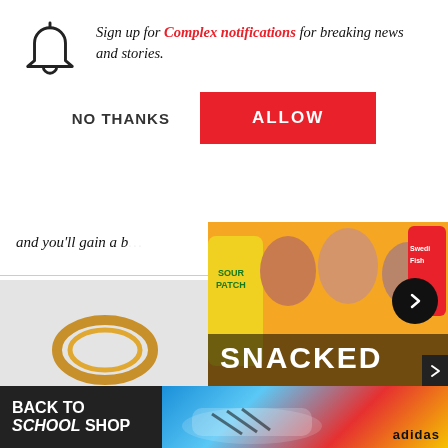Sign up for Complex notifications for breaking news and stories.
NO THANKS
ALLOW
and you'll gain a b…
[Figure (screenshot): SNACKED show video thumbnail with three men and snack foods including Sour Patch Kids and Swedish Fish]
The Try Guys Break Down Their Favorite Snacks | Snacked
[Figure (photo): Ring or jewelry item on light grey background]
[Figure (infographic): Adidas Back to School Shop advertisement banner with sneaker image]